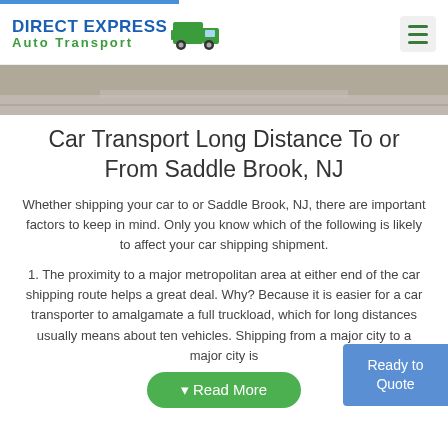[Figure (logo): Direct Express Auto Transport logo with truck icon and blue/green text]
[Figure (photo): Hero image of a road surface]
Car Transport Long Distance To or From Saddle Brook, NJ
Whether shipping your car to or Saddle Brook, NJ, there are important factors to keep in mind. Only you know which of the following is likely to affect your car shipping shipment.
1. The proximity to a major metropolitan area at either end of the car shipping route helps a great deal. Why? Because it is easier for a car transporter to amalgamate a full truckload, which for long distances usually means about ten vehicles. Shipping from a major city to a major city is
Ready to Quote
Read More